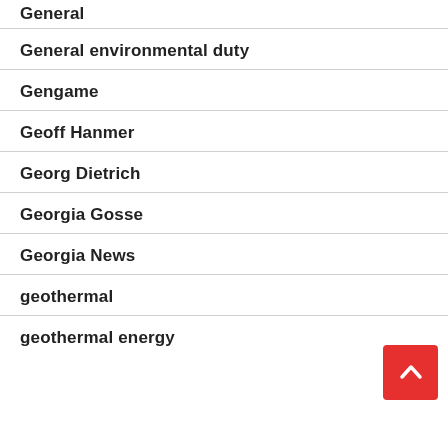General
General environmental duty
Gengame
Geoff Hanmer
Georg Dietrich
Georgia Gosse
Georgia News
geothermal
geothermal energy